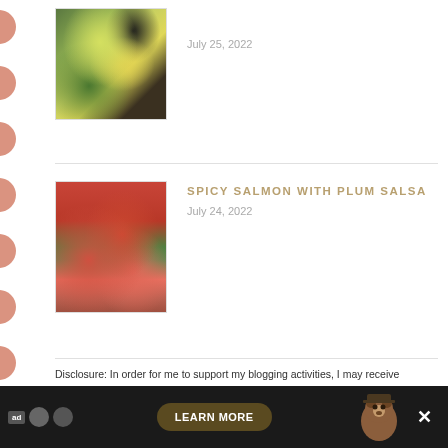[Figure (photo): Thumbnail photo of a colorful salad with blueberries, yellow mango, and greens]
July 25, 2022
SPICY SALMON WITH PLUM SALSA
[Figure (photo): Thumbnail photo of spicy salmon fillet topped with colorful plum salsa including red and yellow fruits]
July 24, 2022
Disclosure: In order for me to support my blogging activities, I may receive monetary compensation or other types of remuneration for my endorsement, recommendation, testimonial and/or link to any products or services from this blog. The information contained in this post is not intended nor implied to be a substitute for professional medical advice, it is provided
[Figure (other): Advertisement banner at bottom with Smokey Bear Learn More button]